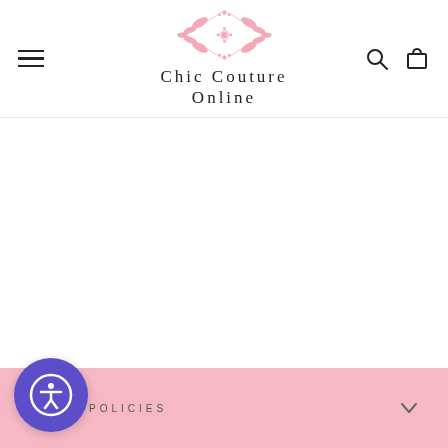[Figure (logo): Chic Couture Online logo with pink ornamental design and text]
[Figure (illustration): Accessibility button - purple circle with white accessibility icon]
VI
MULT
&
S
STORE POLICIES